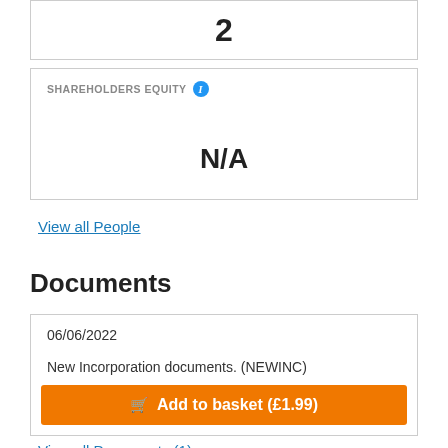2
SHAREHOLDERS EQUITY
N/A
View all People
Documents
06/06/2022
New Incorporation documents. (NEWINC)
Add to basket (£1.99)
View all Documents (1)